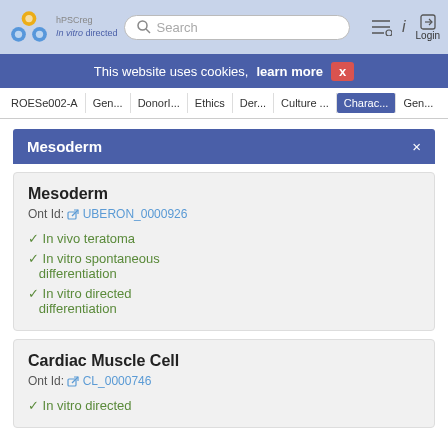Search navigation bar with logo, search box, and Login
This website uses cookies, learn more  X
ROESe002-A  Gen...  DonorI...  Ethics  Der...  Culture ...  Charac...  Gen...
Mesoderm
Mesoderm
Ont Id: UBERON_0000926
✓ In vivo teratoma
✓ In vitro spontaneous differentiation
✓ In vitro directed differentiation
Cardiac Muscle Cell
Ont Id: CL_0000746
✓ In vitro directed